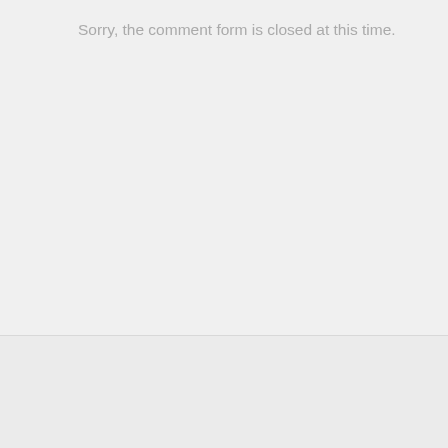Sorry, the comment form is closed at this time.
Major Criteria Of mingle2.com   Greece Gennaio 22, 2020